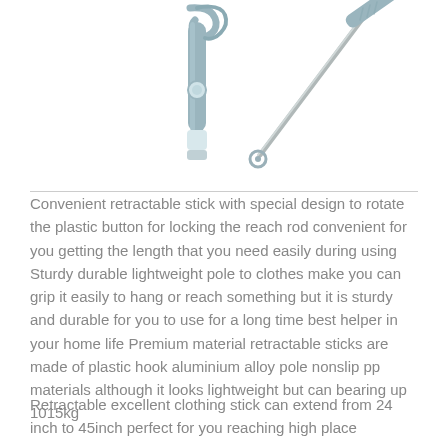[Figure (photo): Product photo showing two retractable stick/pole items: on the left, a grey/blue retractable hook stick with a loop handle and button mechanism; on the right, a long thin retractable pole with a small ring at the tip.]
Convenient retractable stick with special design to rotate the plastic button for locking the reach rod convenient for you getting the length that you need easily during using Sturdy durable lightweight pole to clothes make you can grip it easily to hang or reach something but it is sturdy and durable for you to use for a long time best helper in your home life Premium material retractable sticks are made of plastic hook aluminium alloy pole nonslip pp materials although it looks lightweight but can bearing up 1015kg
Retractable excellent clothing stick can extend from 24 inch to 45inch perfect for you reaching high place